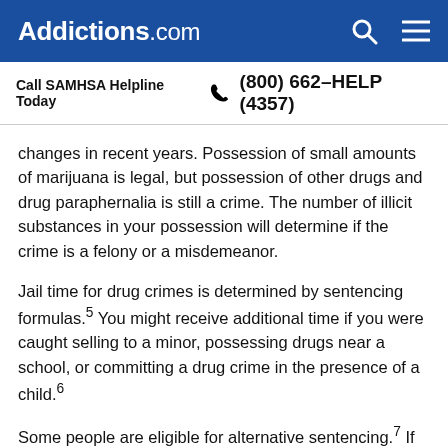Addictions.com
Call SAMHSA Helpline Today  (800) 662-HELP (4357)
changes in recent years. Possession of small amounts of marijuana is legal, but possession of other drugs and drug paraphernalia is still a crime. The number of illicit substances in your possession will determine if the crime is a felony or a misdemeanor.
Jail time for drug crimes is determined by sentencing formulas.5 You might receive additional time if you were caught selling to a minor, possessing drugs near a school, or committing a drug crime in the presence of a child.6
Some people are eligible for alternative sentencing.7 If your crime was a first offense, non-violent, and did